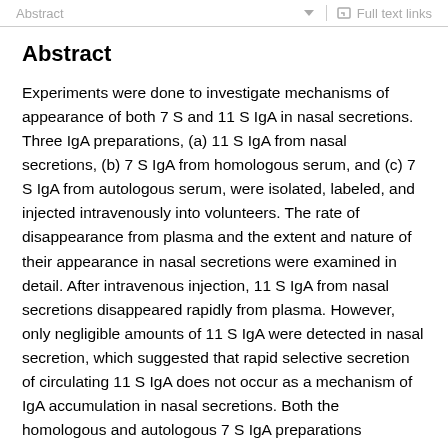Abstract | Full text links
Abstract
Experiments were done to investigate mechanisms of appearance of both 7 S and 11 S IgA in nasal secretions. Three IgA preparations, (a) 11 S IgA from nasal secretions, (b) 7 S IgA from homologous serum, and (c) 7 S IgA from autologous serum, were isolated, labeled, and injected intravenously into volunteers. The rate of disappearance from plasma and the extent and nature of their appearance in nasal secretions were examined in detail. After intravenous injection, 11 S IgA from nasal secretions disappeared rapidly from plasma. However, only negligible amounts of 11 S IgA were detected in nasal secretion, which suggested that rapid selective secretion of circulating 11 S IgA does not occur as a mechanism of IgA accumulation in nasal secretions. Both the homologous and autologous 7 S IgA preparations disappeared from plasma at a normal rate, and both appeared in nasal secretions and in urine.